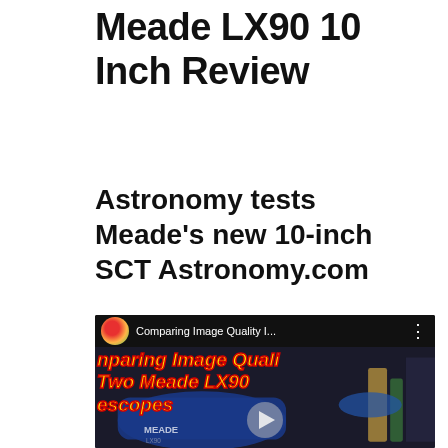Meade LX90 10 Inch Review
Astronomy tests Meade's new 10-inch SCT Astronomy.com
[Figure (screenshot): YouTube video thumbnail showing 'Comparing Image Quality I...' with overlay text 'nparing Image Quali', 'Two Meade LX90', 'escopes' in yellow italic bold font over a dark image of Meade LX90 telescopes, with a play button in the center.]